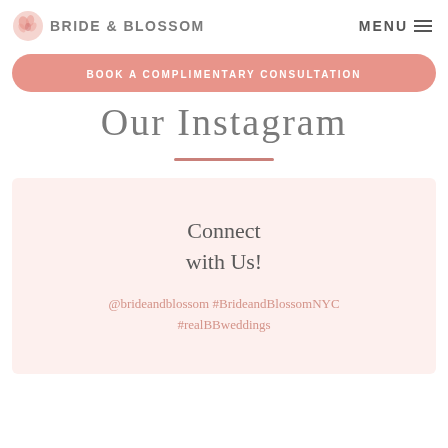BRIDE & BLOSSOM | MENU
BOOK A COMPLIMENTARY CONSULTATION
Our Instagram
Connect with Us!
@brideandblossom #BrideandBlossomNYC #realBBweddings